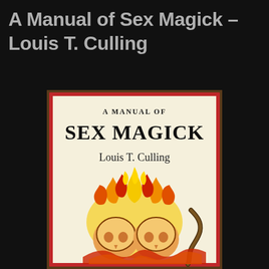A Manual of Sex Magick – Louis T. Culling
[Figure (photo): Photograph of the book cover of 'A Manual of Sex Magick' by Louis T. Culling. The cover has a cream/off-white background with a red border. At the top it reads 'A MANUAL OF' in smaller serif caps, below that 'SEX MAGICK' in large bold black serif letters, then 'Louis T. Culling' in a serif font. The lower portion shows an illustration of two skulls engulfed in flames rendered in red, orange, and yellow, with a serpent or tentacle on the right side.]